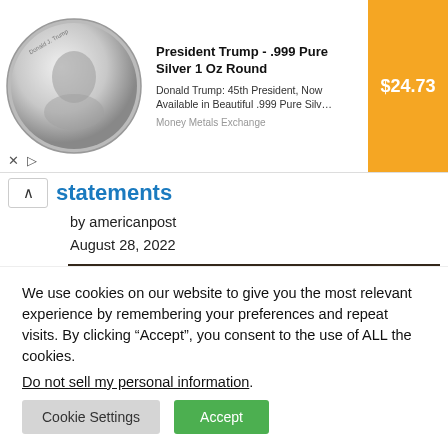[Figure (photo): Advertisement banner: President Trump .999 Pure Silver 1 Oz Round coin photo on left, text in middle, orange price block on right showing $24.73]
statements
by americanpost
August 28, 2022
[Figure (photo): Blurred photo showing what appears to be stacked paper money or documents on a desk]
We use cookies on our website to give you the most relevant experience by remembering your preferences and repeat visits. By clicking “Accept”, you consent to the use of ALL the cookies.
Do not sell my personal information.
Cookie Settings   Accept